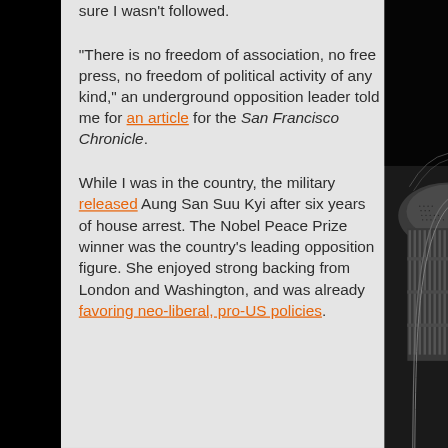sure I wasn't followed.
“There is no freedom of association, no free press, no freedom of political activity of any kind,” an underground opposition leader told me for an article for the San Francisco Chronicle.
While I was in the country, the military released Aung San Suu Kyi after six years of house arrest. The Nobel Peace Prize winner was the country’s leading opposition figure. She enjoyed strong backing from London and Washington, and was already favoring neo-liberal, pro-US policies.